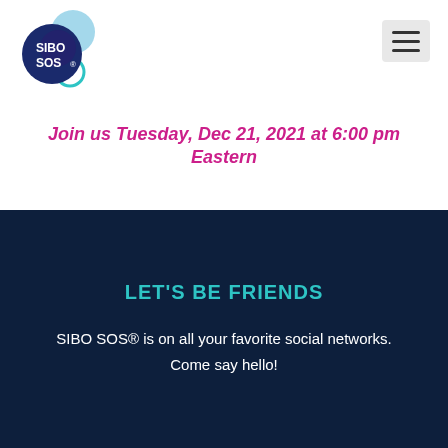[Figure (logo): SIBO SOS logo with blue circular shapes and white text]
Join us Tuesday, Dec 21, 2021 at 6:00 pm Eastern
LET'S BE FRIENDS
SIBO SOS® is on all your favorite social networks. Come say hello!